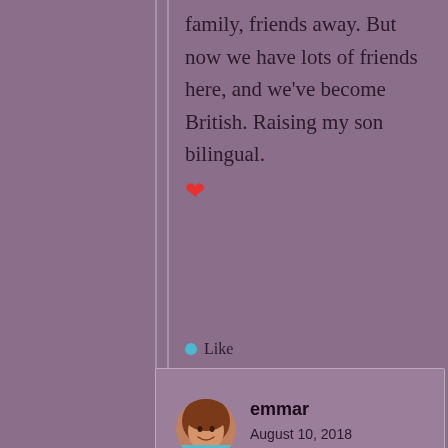family, friends away. But now we have lots of friends here, and we've become British. Raising my son bilingual. ❤
Like
emmar
August 10, 2018 at 2:14 pm